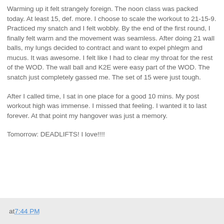Warming up it felt strangely foreign. The noon class was packed today. At least 15, def. more. I choose to scale the workout to 21-15-9. Practiced my snatch and I felt wobbly. By the end of the first round, I finally felt warm and the movement was seamless. After doing 21 wall balls, my lungs decided to contract and want to expel phlegm and mucus. It was awesome. I felt like I had to clear my throat for the rest of the WOD. The wall ball and K2E were easy part of the WOD. The snatch just completely gassed me. The set of 15 were just tough.
After I called time, I sat in one place for a good 10 mins. My post workout high was immense. I missed that feeling. I wanted it to last forever. At that point my hangover was just a memory.
Tomorrow: DEADLIFTS! I love!!!!
at 7:44 PM